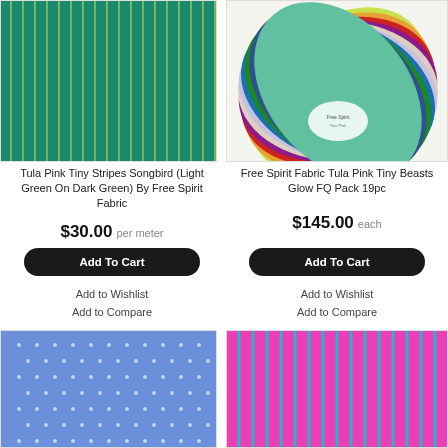[Figure (photo): Teal fabric with thin yellow vertical stripes — Tula Pink Tiny Stripes Songbird]
[Figure (photo): Fan of colourful fabric swatches — Free Spirit Fabric Tula Pink Tiny Beasts Glow FQ Pack 19pc]
Tula Pink Tiny Stripes Songbird (Light Green On Dark Green) By Free Spirit Fabric
$30.00 per meter
Add To Cart
Add to Wishlist
Add to Compare
Free Spirit Fabric Tula Pink Tiny Beasts Glow FQ Pack 19pc
$145.00 each
Add To Cart
Add to Wishlist
Add to Compare
[Figure (photo): Blue/periwinkle fabric with small white dot pattern]
[Figure (photo): Hot pink/magenta fabric with vertical teal/blue stripes]